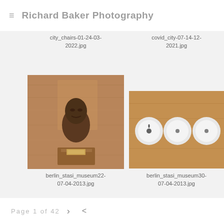Richard Baker Photography
[Figure (photo): Partial view of city chairs scene - legs and chairs visible]
[Figure (photo): Aerial or overhead view of covid city shelves/storage with grid pattern]
city_chairs-01-24-03-2022.jpg
covid_city-07-14-12-2021.jpg
[Figure (photo): Berlin Stasi museum - bronze bust of a figure on wooden pedestal]
[Figure (photo): Berlin Stasi museum - three round white light switches on wooden wall panel]
berlin_stasi_museum22-07-04-2013.jpg
berlin_stasi_museum30-07-04-2013.jpg
Page 1 of 42